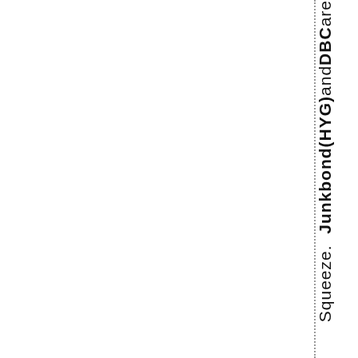Squeeze. Junk bond (HYG) and DBC are